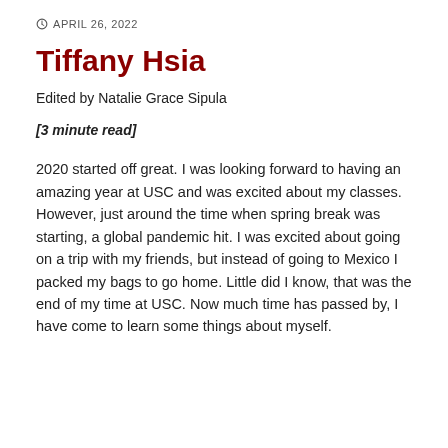APRIL 26, 2022
Tiffany Hsia
Edited by Natalie Grace Sipula
[3 minute read]
2020 started off great. I was looking forward to having an amazing year at USC and was excited about my classes. However, just around the time when spring break was starting, a global pandemic hit. I was excited about going on a trip with my friends, but instead of going to Mexico I packed my bags to go home. Little did I know, that was the end of my time at USC. Now much time has passed by, I have come to learn some things about myself.